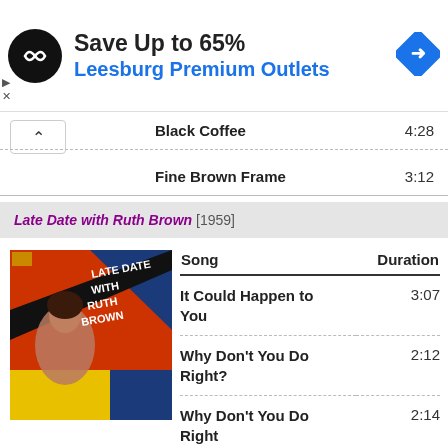[Figure (screenshot): Advertisement banner: black circular logo with infinity-like symbol, text 'Save Up to 65%' and 'Leesburg Premium Outlets' in blue, blue diamond navigation icon on right]
Black Coffee  4:28
Fine Brown Frame  3:12
Late Date with Ruth Brown [1959]
[Figure (photo): Album cover for 'Late Date with Ruth Brown' showing a woman in foreground with bold text on colorful background (red, blue, yellow, black)]
| Song | Duration |
| --- | --- |
| It Could Happen to You | 3:07 |
| Why Don't You Do Right? | 2:12 |
| Why Don't You Do Right | 2:14 |